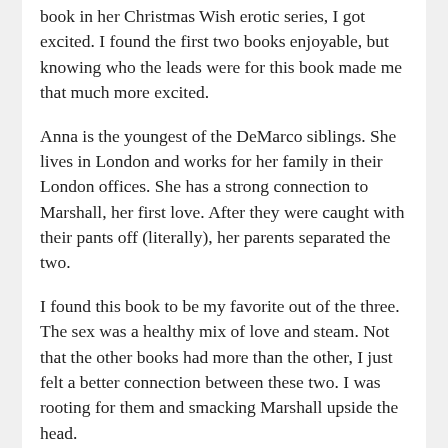book in her Christmas Wish erotic series, I got excited. I found the first two books enjoyable, but knowing who the leads were for this book made me that much more excited.
Anna is the youngest of the DeMarco siblings. She lives in London and works for her family in their London offices. She has a strong connection to Marshall, her first love. After they were caught with their pants off (literally), her parents separated the two.
I found this book to be my favorite out of the three. The sex was a healthy mix of love and steam. Not that the other books had more than the other, I just felt a better connection between these two. I was rooting for them and smacking Marshall upside the head.
The writing is good and quick. It was easy for me to get into the book and stay with it. Less than twenty chapters, this